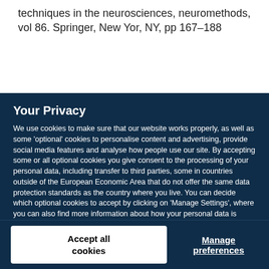techniques in the neurosciences, neuromethods, vol 86. Springer, New Yor, NY, pp 167–188
Your Privacy
We use cookies to make sure that our website works properly, as well as some 'optional' cookies to personalise content and advertising, provide social media features and analyse how people use our site. By accepting some or all optional cookies you give consent to the processing of your personal data, including transfer to third parties, some in countries outside of the European Economic Area that do not offer the same data protection standards as the country where you live. You can decide which optional cookies to accept by clicking on 'Manage Settings', where you can also find more information about how your personal data is processed. Further information can be found in our privacy policy.
Accept all cookies
Manage preferences